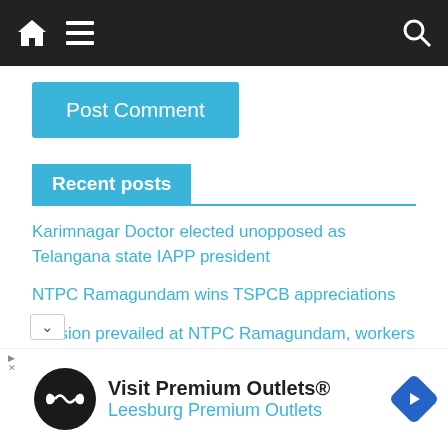Navigation bar with home icon, menu icon, and search icon
Post Comment
Recent posts
Karimnagar Doctor elected unopposed as Telangana state IAPP president
NTPC Ramagundam wins TSPCB appreciations
Tension prevailed at NTPC Ramagundam, workers resort to stone pelting
[Figure (other): Advertisement: Visit Premium Outlets® — Leesburg Premium Outlets, with circular black logo showing infinity-like symbol and blue diamond navigation icon]